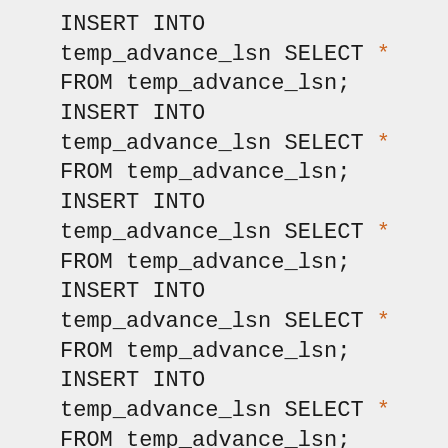INSERT INTO temp_advance_lsn SELECT * FROM temp_advance_lsn; INSERT INTO temp_advance_lsn SELECT * FROM temp_advance_lsn; INSERT INTO temp_advance_lsn SELECT * FROM temp_advance_lsn; INSERT INTO temp_advance_lsn SELECT * FROM temp_advance_lsn; INSERT INTO temp_advance_lsn SELECT * FROM temp_advance_lsn; INSERT INTO temp_advance_lsn SELECT * FROM temp_advance_lsn; INSERT INTO